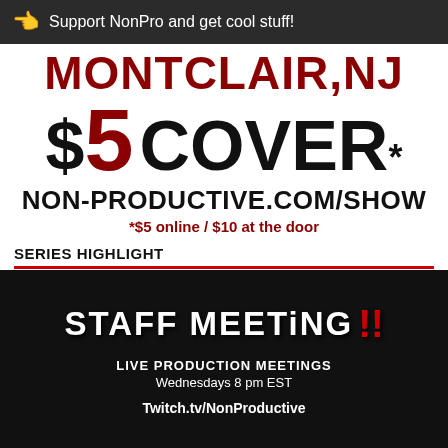Support NonPro and get cool stuff!
MONTCLAIR,NJ
$5 COVER*
NON-PRODUCTIVE.COM/SHOW
*$5 online / $10 at the door
SERIES HIGHLIGHT
[Figure (illustration): Black background promotional image for 'Staff Meeting !!' series showing the title in white horror-style font with red double exclamation marks, followed by 'LIVE PRODUCTION MEETINGS Wednesdays 8 pm EST' and 'Twitch.tv/NonProductive']